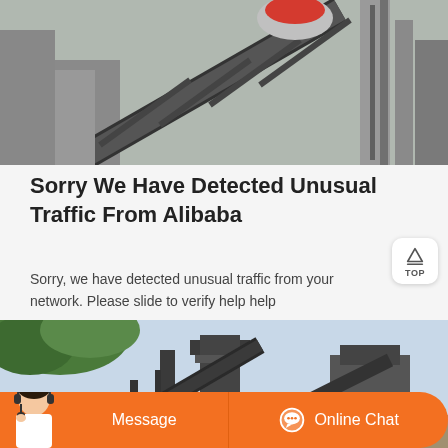[Figure (photo): Industrial machinery/conveyor belt equipment at a factory or processing plant, with metal structures and a red-topped machine visible.]
Sorry We Have Detected Unusual Traffic From Alibaba
Sorry, we have detected unusual traffic from your network. Please slide to verify help help
[Figure (photo): Outdoor industrial equipment with trees visible in the background and blue sky, showing large metal machinery structures.]
Message
Online Chat